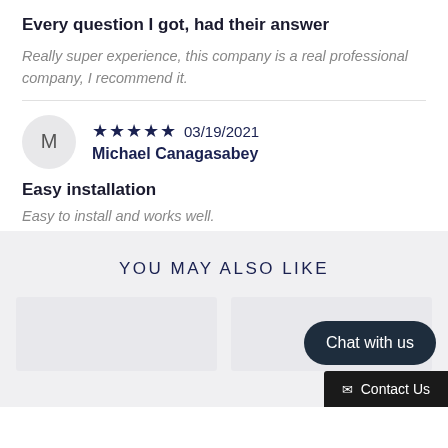Every question I got, had their answer
Really super experience, this company is a real professional company, I recommend it.
M
★★★★★ 03/19/2021
Michael Canagasabey
Easy installation
Easy to install and works well.
YOU MAY ALSO LIKE
[Figure (screenshot): Two product image placeholders side by side]
Chat with us
Contact Us